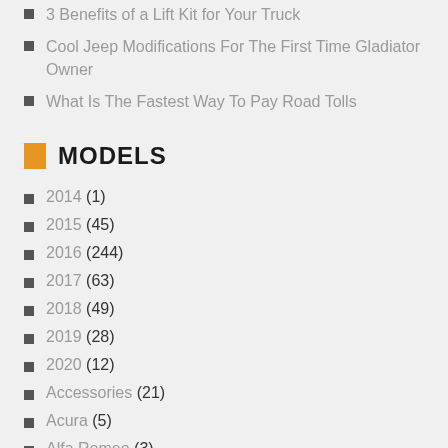3 Benefits of a Lift Kit for Your Truck
Cool Jeep Modifications For The First Time Gladiator Owner
What Is The Fastest Way To Pay Road Tolls
MODELS
2014 (1)
2015 (45)
2016 (244)
2017 (63)
2018 (49)
2019 (28)
2020 (12)
Accessories (21)
Acura (5)
Alfa Romeo (3)